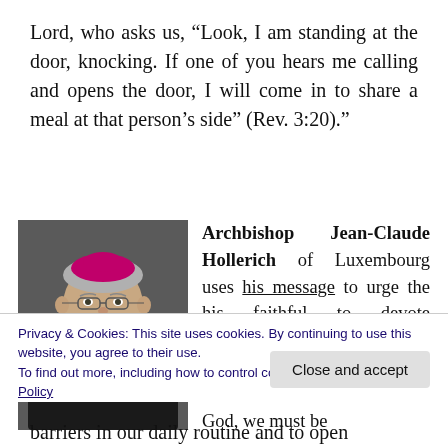Lord, who asks us, “Look, I am standing at the door, knocking. If one of you hears me calling and opens the door, I will come in to share a meal at that person’s side” (Rev. 3:20).”
[Figure (photo): Photo of Archbishop Jean-Claude Hollerich wearing clerical robes and a bishop's zucchetto, smiling]
Archbishop Jean-Claude Hollerich of Luxembourg uses his message to urge the his faithful to devote themselves even more to the practices of Lent and Easter. In order the hear the voice of God, we must be
Privacy & Cookies: This site uses cookies. By continuing to use this website, you agree to their use.
To find out more, including how to control cookies, see here: Cookie Policy
barriers in our daily routine and to open